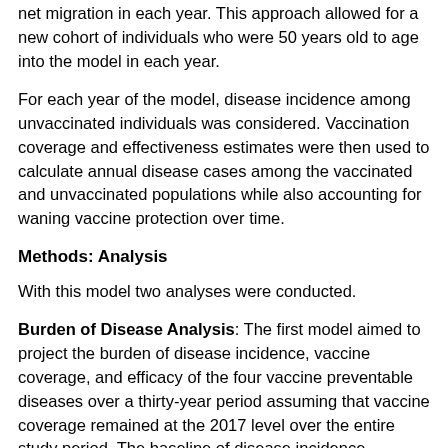net migration in each year. This approach allowed for a new cohort of individuals who were 50 years old to age into the model in each year.
For each year of the model, disease incidence among unvaccinated individuals was considered. Vaccination coverage and effectiveness estimates were then used to calculate annual disease cases among the vaccinated and unvaccinated populations while also accounting for waning vaccine protection over time.
Methods: Analysis
With this model two analyses were conducted.
Burden of Disease Analysis: The first model aimed to project the burden of disease incidence, vaccine coverage, and efficacy of the four vaccine preventable diseases over a thirty-year period assuming that vaccine coverage remained at the 2017 level over the entire study period. The baseline of disease incidence, vaccine efficacy, and waning were also held constant over time in order to explore the burden of disease expected over 30 years. For the clinical outcomes,